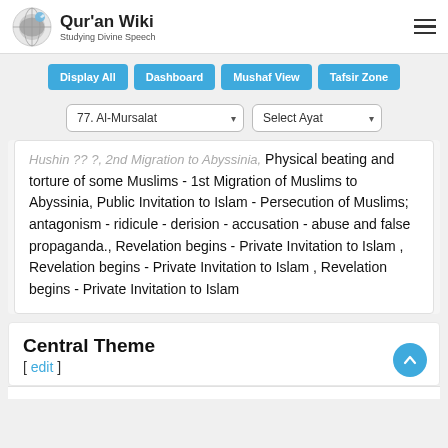Qur'an Wiki — Studying Divine Speech
Display All  Dashboard  Mushaf View  Tafsir Zone
77. Al-Mursalat   Select Ayat
Hushin ?? ?, 2nd Migration to Abyssinia, Physical beating and torture of some Muslims - 1st Migration of Muslims to Abyssinia, Public Invitation to Islam - Persecution of Muslims; antagonism - ridicule - derision - accusation - abuse and false propaganda., Revelation begins - Private Invitation to Islam , Revelation begins - Private Invitation to Islam , Revelation begins - Private Invitation to Islam
Central Theme
[ edit ]